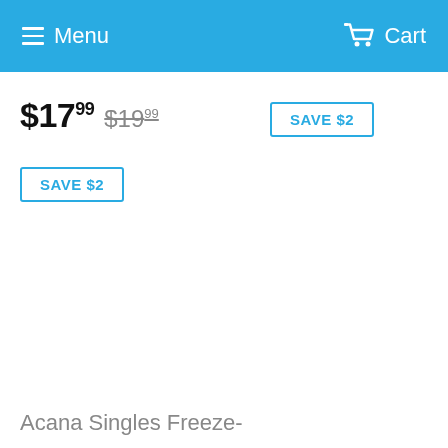Menu  Cart
$17.99  $19.99
SAVE $2
SAVE $2
Acana Singles Freeze-